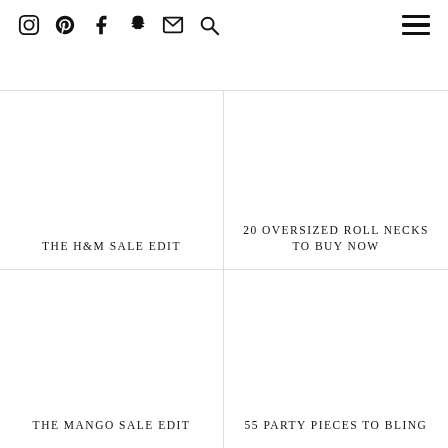Social icons: Instagram, Pinterest, Facebook, Snapchat, Email, Search; Hamburger menu
THE H&M SALE EDIT
20 OVERSIZED ROLL NECKS TO BUY NOW
THE MANGO SALE EDIT
55 PARTY PIECES TO BLING